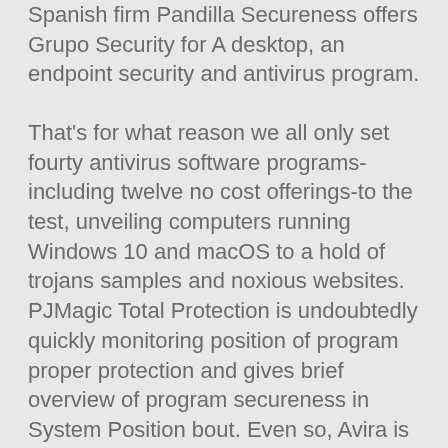Spanish firm Pandilla Secureness offers Grupo Security for A desktop, an endpoint security and antivirus program.
That's for what reason we all only set fourty antivirus software programs-including twelve no cost offerings-to the test, unveiling computers running Windows 10 and macOS to a hold of trojans samples and noxious websites. PJMagic Total Protection is undoubtedly quickly monitoring position of program proper protection and gives brief overview of program secureness in System Position bout. Even so, Avira is a best free of charge antivirus security software software that is helpful, has superior degree of customization and large collection of free adornment features which includes a VPN consumer and an online browser that is privacy-minded. Microsoft windows 10's reliability is simple and quite often lacking sufficient to shield you from just about every threat web based.